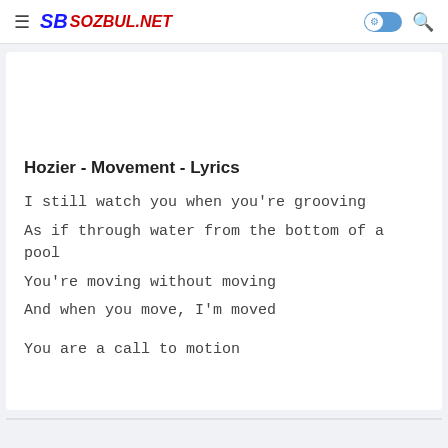≡ SB SOZBUL.NET
Hozier - Movement - Lyrics
I still watch you when you're grooving
As if through water from the bottom of a pool
You're moving without moving
And when you move, I'm moved
You are a call to motion